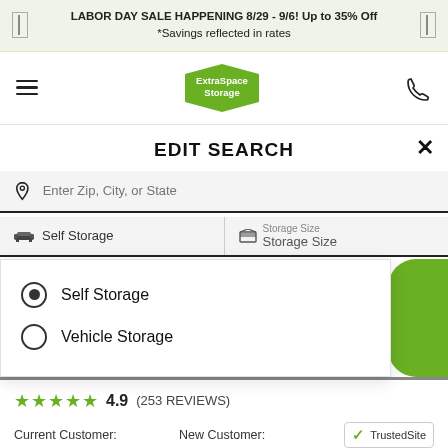LABOR DAY SALE HAPPENING 8/29 - 9/6! Up to 35% Off *Savings reflected in rates
[Figure (logo): Extra Space Storage logo — green hexagonal badge shape with white text]
EDIT SEARCH
Enter Zip, City, or State
Self Storage | Storage Size / Storage Size
Self Storage (selected radio button)
Vehicle Storage (unselected radio button)
4.9 (253 REVIEWS)
Current Customer:
New Customer:
[Figure (logo): TrustedSite badge with green checkmark]